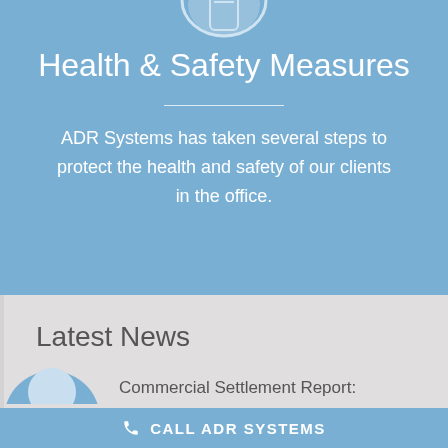[Figure (illustration): Partial circle icon at top of blue section, white outline on blue background]
Health & Safety Measures
ADR Systems has taken several steps to protect the health and safety of our clients in the office.
Latest News
[Figure (illustration): Partial circular avatar/person icon, light blue tones on gray background]
Commercial Settlement Report:
CALL ADR SYSTEMS